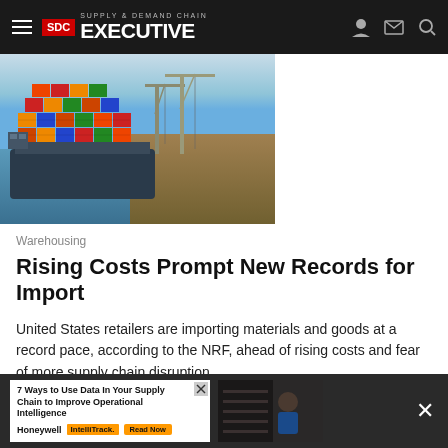Supply & Demand Chain Executive
[Figure (photo): Container ship loaded with colorful shipping containers docked at a port with cranes visible]
Warehousing
Rising Costs Prompt New Records for Import
United States retailers are importing materials and goods at a record pace, according to the NRF, ahead of rising costs and fear of more supply chain disruption.
National Retail Federation (NRF)    May 13, 2022
[Figure (infographic): Advertisement banner: 7 Ways to Use Data In Your Supply Chain to Improve Operational Intelligence. Honeywell IntelliTrack. Read Now.]